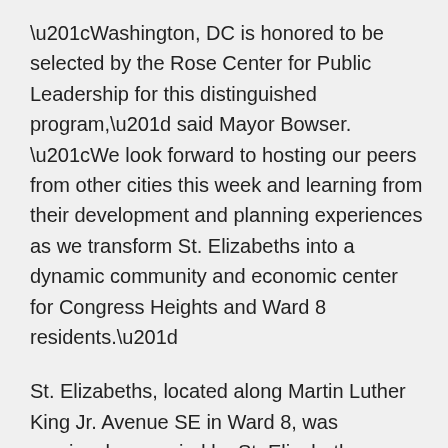“Washington, DC is honored to be selected by the Rose Center for Public Leadership for this distinguished program,” said Mayor Bowser. “We look forward to hosting our peers from other cities this week and learning from their development and planning experiences as we transform St. Elizabeths into a dynamic community and economic center for Congress Heights and Ward 8 residents.”
St. Elizabeths, located along Martin Luther King Jr. Avenue SE in Ward 8, was previously occupied by St. Elizabeths Hospital. In 1987, the Federal Government transferred the 183-acre St. Elizabeths East Campus to the